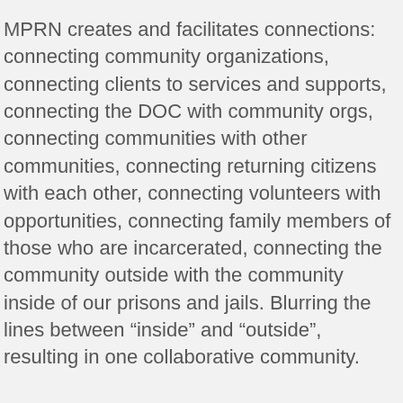MPRN creates and facilitates connections: connecting community organizations, connecting clients to services and supports, connecting the DOC with community orgs, connecting communities with other communities, connecting returning citizens with each other, connecting volunteers with opportunities, connecting family members of those who are incarcerated, connecting the community outside with the community inside of our prisons and jails. Blurring the lines between “inside” and “outside”, resulting in one collaborative community.